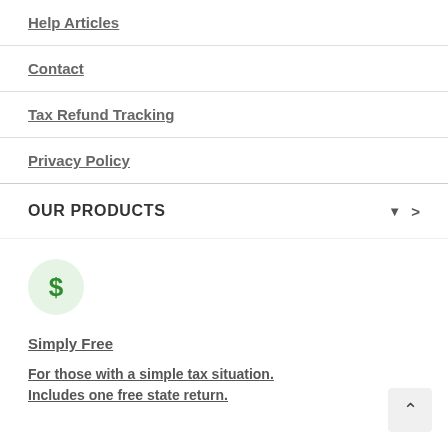Help Articles
Contact
Tax Refund Tracking
Privacy Policy
OUR PRODUCTS
[Figure (illustration): Green circle icon with a dollar sign ($) symbol in the center]
Simply Free
For those with a simple tax situation. Includes one free state return.